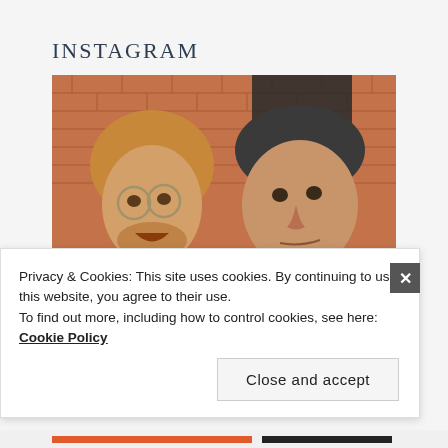INSTAGRAM
[Figure (photo): Selfie photo of two men standing in front of a brick wall with a dark curtain/door. The man on the left has reddish-blonde hair, glasses, and a beard. The man on the right has short dark hair and is wearing a navy shirt.]
Privacy & Cookies: This site uses cookies. By continuing to use this website, you agree to their use.
To find out more, including how to control cookies, see here: Cookie Policy
Close and accept